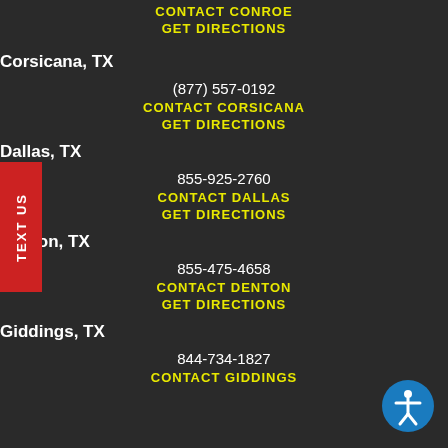CONTACT CONROE
GET DIRECTIONS
Corsicana, TX
(877) 557-0192
CONTACT CORSICANA
GET DIRECTIONS
Dallas, TX
855-925-2760
CONTACT DALLAS
GET DIRECTIONS
Denton, TX
855-475-4658
CONTACT DENTON
GET DIRECTIONS
Giddings, TX
844-734-1827
CONTACT GIDDINGS